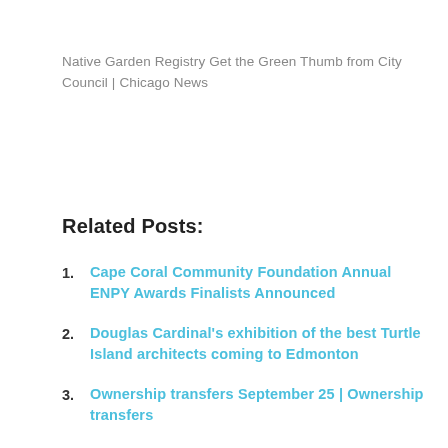Native Garden Registry Get the Green Thumb from City Council | Chicago News
Related Posts:
Cape Coral Community Foundation Annual ENPY Awards Finalists Announced
Douglas Cardinal's exhibition of the best Turtle Island architects coming to Edmonton
Ownership transfers September 25 | Ownership transfers
'The Sopranos' was inspired by this Newark Mafia family